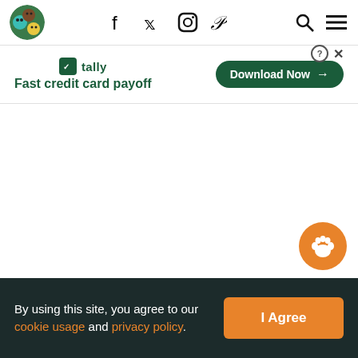[Figure (logo): Pet-themed circular logo with colorful animal faces on green background]
[Figure (infographic): Social media icons: Facebook, Twitter, Instagram, Pinterest; Search and hamburger menu icons]
[Figure (infographic): Tally ad banner: Fast credit card payoff, Download Now button]
[Figure (logo): Orange circular paw print button]
By using this site, you agree to our cookie usage and privacy policy.
I Agree